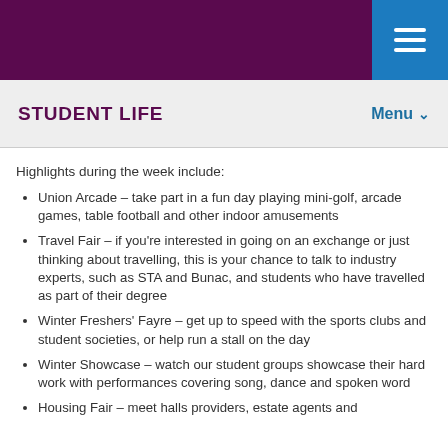STUDENT LIFE | Menu
Highlights during the week include:
Union Arcade – take part in a fun day playing mini-golf, arcade games, table football and other indoor amusements
Travel Fair – if you're interested in going on an exchange or just thinking about travelling, this is your chance to talk to industry experts, such as STA and Bunac, and students who have travelled as part of their degree
Winter Freshers' Fayre – get up to speed with the sports clubs and student societies, or help run a stall on the day
Winter Showcase – watch our student groups showcase their hard work with performances covering song, dance and spoken word
Housing Fair – meet halls providers, estate agents and